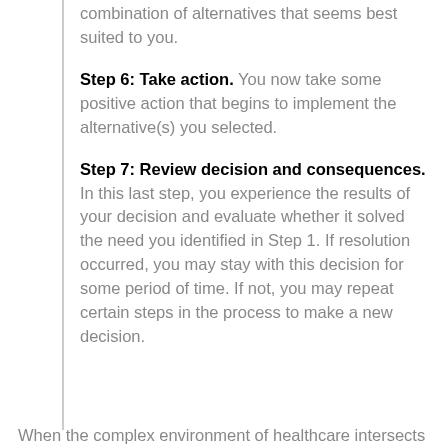combination of alternatives that seems best suited to you.
Step 6: Take action. You now take some positive action that begins to implement the alternative(s) you selected.
Step 7: Review decision and consequences. In this last step, you experience the results of your decision and evaluate whether it solved the need you identified in Step 1. If resolution occurred, you may stay with this decision for some period of time. If not, you may repeat certain steps in the process to make a new decision.
When the complex environment of healthcare intersects